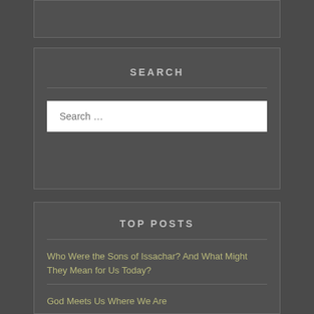SEARCH
Search …
TOP POSTS
Who Were the Sons of Issachar? And What Might They Mean for Us Today?
God Meets Us Where We Are